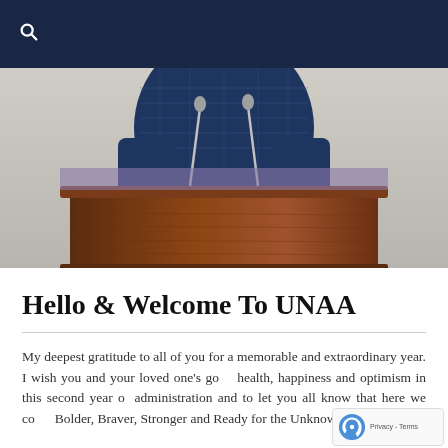[Figure (photo): A person in a blue plaid suit standing at a wooden podium with microphones, torso and arms visible]
Hello & Welcome To UNAA
My deepest gratitude to all of you for a memorable and extraordinary year. I wish you and your loved one's good health, happiness and optimism in this second year of administration and to let you all know that here we come Bolder, Braver, Stronger and Ready for the Unknown!